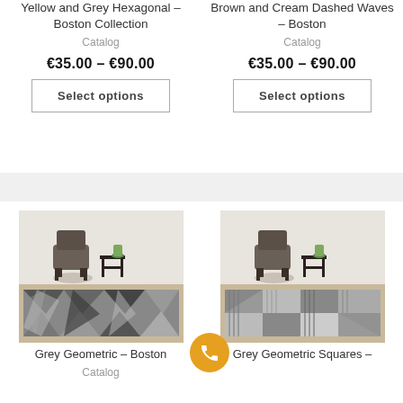Yellow and Grey Hexagonal – Boston Collection
Catalog
€35.00 – €90.00
Select options
Brown and Cream Dashed Waves – Boston
Catalog
€35.00 – €90.00
Select options
[Figure (photo): Grey geometric patterned rug in a living room setting with chair and side table]
Grey Geometric – Boston
Catalog
[Figure (photo): Grey geometric squares patterned rug in a living room setting with chair and side table]
Grey Geometric Squares –